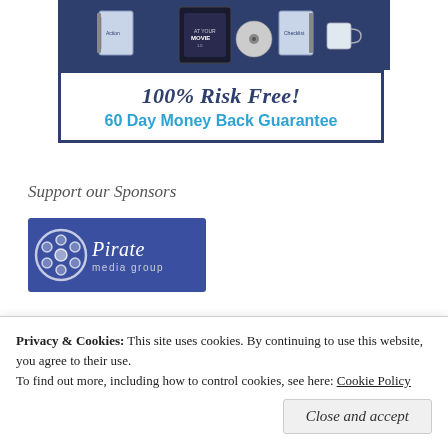[Figure (illustration): Promotional banner with dark blue top section showing product images (books, DVD, mug) and white bottom section with text '100% Risk Free! 60 Day Money Back Guarantee']
Support our Sponsors
[Figure (logo): Pirate Media Group logo: blue rectangle with film reel icon on left and 'Pirate media group' text in white italic script on right]
Privacy & Cookies: This site uses cookies. By continuing to use this website, you agree to their use. To find out more, including how to control cookies, see here: Cookie Policy
Close and accept